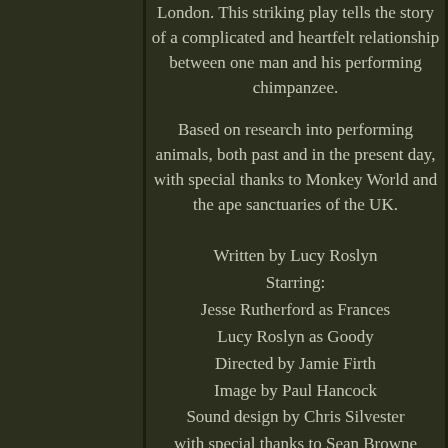London. This striking play tells the story of a complicated and heartfelt relationship between one man and his performing chimpanzee.
Based on research into performing animals, both past and in the present day, with special thanks to Monkey World and the ape sanctuaries of the UK.
Written by Lucy Roslyn
Starring:
Jesse Rutherford as Frances
Lucy Roslyn as Goody
Directed by Jamie Firth
Image by Paul Hancock
Sound design by Chris Silvester
with special thanks to Sean Browne
1934. Dust Bowl America. Backstage at the